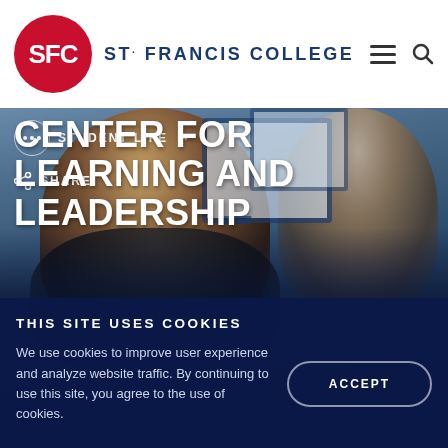[Figure (logo): St. Francis College circular red logo with SFC letters in white]
ST. FRANCIS COLLEGE
[Figure (photo): Students in a computer lab, blurred background with monitors and blue equipment]
STUDENT LIFE →
SHARE
CENTER FOR LEARNING AND LEADERSHIP
THIS SITE USES COOKIES
We use cookies to improve user experience and analyze website traffic. By continuing to use this site, you agree to the use of cookies.
ACCEPT